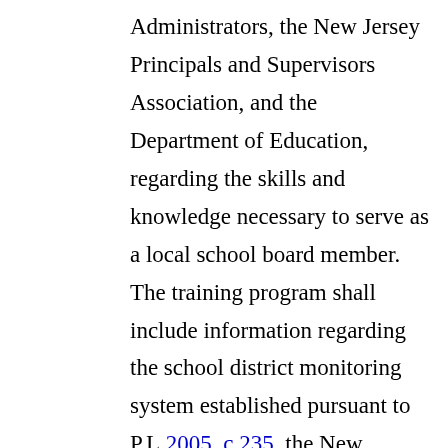Administrators, the New Jersey Principals and Supervisors Association, and the Department of Education, regarding the skills and knowledge necessary to serve as a local school board member. The training program shall include information regarding the school district monitoring system established pursuant to P.L.2005, c.235, the New